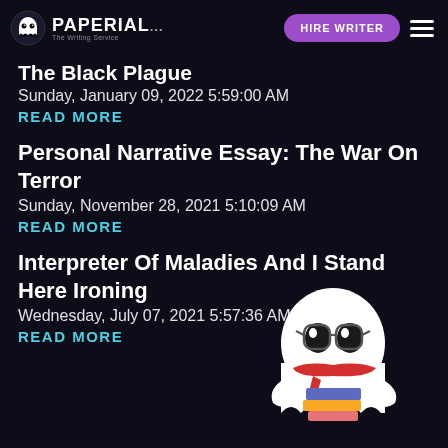PAPERIAL... HIRE WRITER
The Black Plague
Sunday, January 09, 2022 5:59:00 AM
READ MORE
Personal Narrative Essay: The War On Terror
Sunday, November 28, 2021 5:10:09 AM
READ MORE
Interpreter Of Maladies And I Stand Here Ironing
Wednesday, July 07, 2021 5:57:36 AM
READ MORE
[Figure (illustration): Ghost mascot illustration wearing glasses and a red scarf, holding a stack of books]